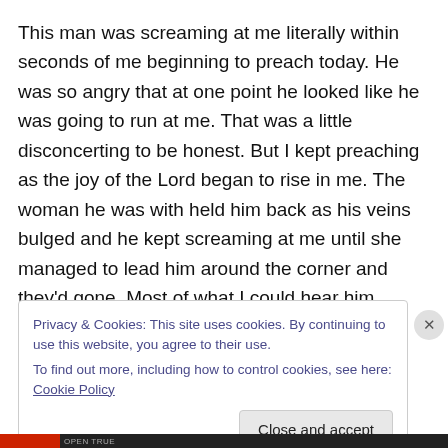This man was screaming at me literally within seconds of me beginning to preach today. He was so angry that at one point he looked like he was going to run at me. That was a little disconcerting to be honest. But I kept preaching as the joy of the Lord began to rise in me. The woman he was with held him back as his veins bulged and he kept screaming at me until she managed to lead him around the corner and they’d gone. Most of what I could hear him saying was foul language and the word “self”. Talk about a manifestation of the spirit of this age!
Privacy & Cookies: This site uses cookies. By continuing to use this website, you agree to their use.
To find out more, including how to control cookies, see here: Cookie Policy
Close and accept